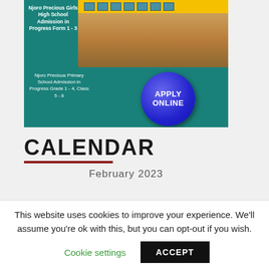[Figure (illustration): School promotional banner with teal background. Top half shows a photo of students and adults standing in front of a yellow school bus. Left side text reads 'Njoro Precious Girls High School Admission in Progress Form 1 - 3'. Bottom left text reads 'Njoro Precious Primary School Admission in Progress Grade 1 - 4, Class 5 - 8'. A blue circular button on the right reads 'APPLY ONLINE'.]
CALENDAR
February 2023
This website uses cookies to improve your experience. We'll assume you're ok with this, but you can opt-out if you wish.
Cookie settings
ACCEPT